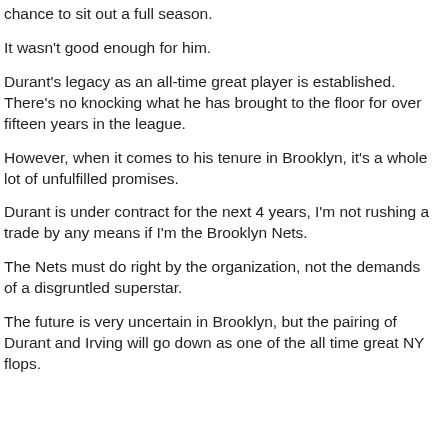chance to sit out a full season.
It wasn't good enough for him.
Durant's legacy as an all-time great player is established. There's no knocking what he has brought to the floor for over fifteen years in the league.
However, when it comes to his tenure in Brooklyn, it's a whole lot of unfulfilled promises.
Durant is under contract for the next 4 years, I'm not rushing a trade by any means if I'm the Brooklyn Nets.
The Nets must do right by the organization, not the demands of a disgruntled superstar.
The future is very uncertain in Brooklyn, but the pairing of Durant and Irving will go down as one of the all time great NY flops.